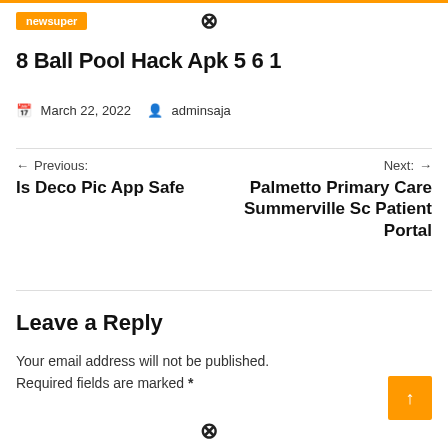newsuper
8 Ball Pool Hack Apk 5 6 1
March 22, 2022   adminsaja
← Previous: Is Deco Pic App Safe
Next: → Palmetto Primary Care Summerville Sc Patient Portal
Leave a Reply
Your email address will not be published. Required fields are marked *